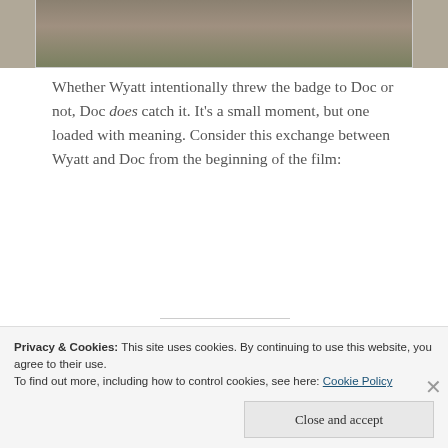[Figure (photo): Partial photo of people outdoors near a stone wall, cropped at the top of the page]
Whether Wyatt intentionally threw the badge to Doc or not, Doc does catch it. It’s a small moment, but one loaded with meaning. Consider this exchange between Wyatt and Doc from the beginning of the film:
“Doc? Did Virg deputize you?” “I swore to something he was muttering about.” “Then wear the badge.”
Privacy & Cookies: This site uses cookies. By continuing to use this website, you agree to their use. To find out more, including how to control cookies, see here: Cookie Policy
Close and accept